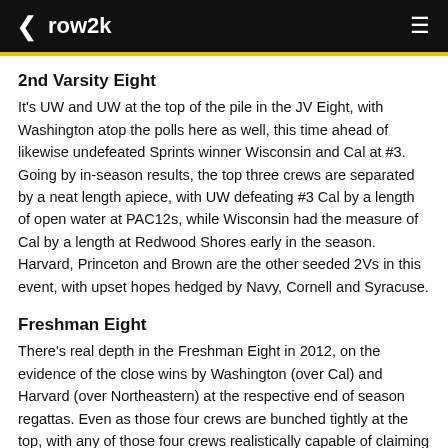row2k
2nd Varsity Eight
It's UW and UW at the top of the pile in the JV Eight, with Washington atop the polls here as well, this time ahead of likewise undefeated Sprints winner Wisconsin and Cal at #3. Going by in-season results, the top three crews are separated by a neat length apiece, with UW defeating #3 Cal by a length of open water at PAC12s, while Wisconsin had the measure of Cal by a length at Redwood Shores early in the season. Harvard, Princeton and Brown are the other seeded 2Vs in this event, with upset hopes hedged by Navy, Cornell and Syracuse.
Freshman Eight
There's real depth in the Freshman Eight in 2012, on the evidence of the close wins by Washington (over Cal) and Harvard (over Northeastern) at the respective end of season regattas. Even as those four crews are bunched tightly at the top, with any of those four crews realistically capable of claiming the title. Cornell, Brown and Princeton also have the speed to make an impression.